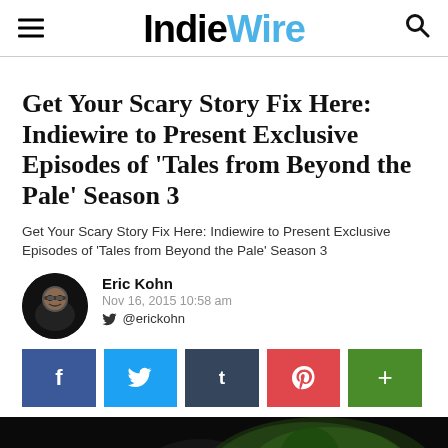IndieWire
Get Your Scary Story Fix Here: Indiewire to Present Exclusive Episodes of ‘Tales from Beyond the Pale’ Season 3
Get Your Scary Story Fix Here: Indiewire to Present Exclusive Episodes of ‘Tales from Beyond the Pale’ Season 3
Eric Kohn
Nov 16, 2015 10:58 am
@erickohn
[Figure (infographic): Social share buttons: Facebook (blue), Twitter (light blue), Tumblr (dark blue-grey), Pinterest (red), More/plus (green)]
[Figure (photo): Bottom portion of article page showing a dark image, partially visible]